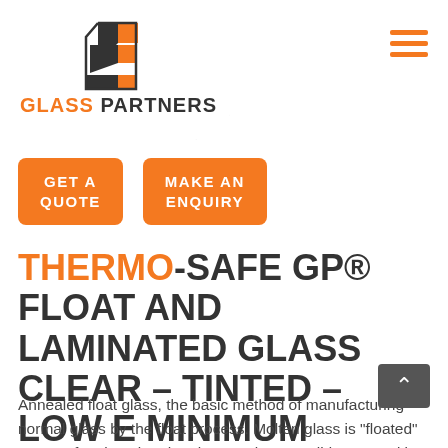[Figure (logo): Glass Partners logo with geometric diamond/building icon in orange and dark grey, text 'GLASS PARTNERS' below in orange and dark grey on a white card with drop shadow]
GET A QUOTE
MAKE AN ENQUIRY
THERMO-SAFE GP® FLOAT AND LAMINATED GLASS CLEAR – TINTED – LOW E MINIMUM SOLAR CONTROL
Annealed float glass, the basic method of manufacturing normal glass by the float process. Molten glass is "floated" on top of molten tin. The glass cools to a solid state and is further processed thereafter. Bottom glass